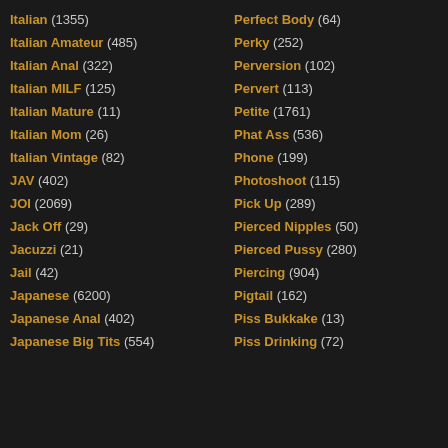Italian (1355)
Italian Amateur (485)
Italian Anal (322)
Italian MILF (125)
Italian Mature (11)
Italian Mom (26)
Italian Vintage (82)
JAV (402)
JOI (2069)
Jack Off (29)
Jacuzzi (21)
Jail (42)
Japanese (6200)
Japanese Anal (402)
Japanese Big Tits (554)
Perfect Body (64)
Perky (252)
Perversion (102)
Pervert (113)
Petite (1761)
Phat Ass (536)
Phone (199)
Photoshoot (115)
Pick Up (289)
Pierced Nipples (50)
Pierced Pussy (280)
Piercing (904)
Pigtail (162)
Piss Bukkake (13)
Piss Drinking (72)